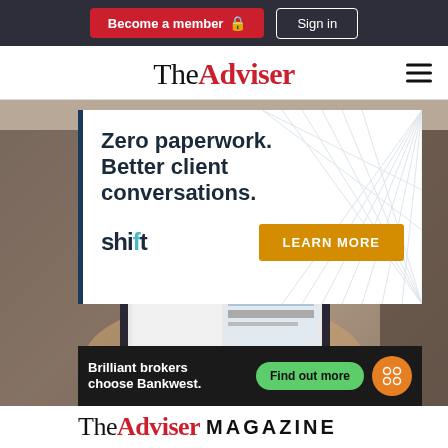Become a member  |  Sign in
TheAdviser
[Figure (screenshot): Shift advertisement banner: 'Zero paperwork. Better client conversations.' with LEARN MORE button, overlaid on a photo of a person holding a tablet showing The Adviser magazine]
[Figure (infographic): Bankwest advertisement: 'Brilliant brokers choose Bankwest.' with 'Find out more' green button and Bankwest circular logo]
TheAdviser MAGAZINE